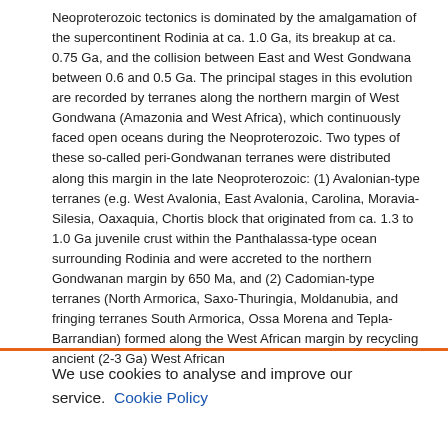Neoproterozoic tectonics is dominated by the amalgamation of the supercontinent Rodinia at ca. 1.0 Ga, its breakup at ca. 0.75 Ga, and the collision between East and West Gondwana between 0.6 and 0.5 Ga. The principal stages in this evolution are recorded by terranes along the northern margin of West Gondwana (Amazonia and West Africa), which continuously faced open oceans during the Neoproterozoic. Two types of these so-called peri-Gondwanan terranes were distributed along this margin in the late Neoproterozoic: (1) Avalonian-type terranes (e.g. West Avalonia, East Avalonia, Carolina, Moravia-Silesia, Oaxaquia, Chortis block that originated from ca. 1.3 to 1.0 Ga juvenile crust within the Panthalassa-type ocean surrounding Rodinia and were accreted to the northern Gondwanan margin by 650 Ma, and (2) Cadomian-type terranes (North Armorica, Saxo-Thuringia, Moldanubia, and fringing terranes South Armorica, Ossa Morena and Tepla-Barrandian) formed along the West African margin by recycling ancient (2-3 Ga) West African
We use cookies to analyse and improve our service. Cookie Policy